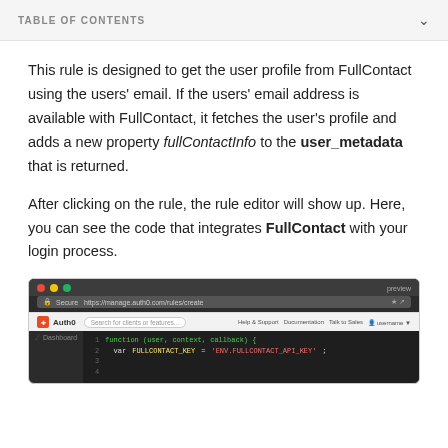TABLE OF CONTENTS
This rule is designed to get the user profile from FullContact using the users' email. If the users' email address is available with FullContact, it fetches the user's profile and adds a new property fullContactInfo to the user_metadata that is returned.
After clicking on the rule, the rule editor will show up. Here, you can see the code that integrates FullContact with your login process.
[Figure (screenshot): Browser screenshot showing the Auth0 management dashboard with a code editor displaying JavaScript rule code integrating FullContact API.]